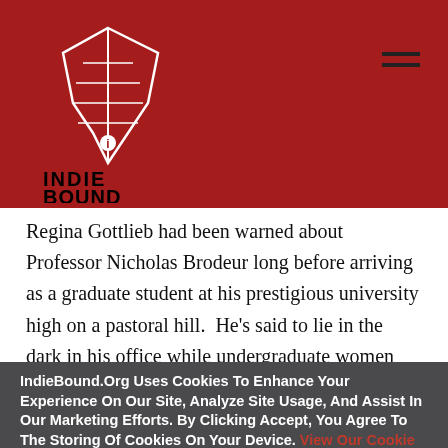IndieBound logo and navigation header
Regina Gottlieb had been warned about Professor Nicholas Brodeur long before arriving as a graduate student at his prestigious university high on a pastoral hill.  He's said to lie in the dark in his office while undergraduate women read couplets to him. He's condemned on the walls of the women's
IndieBound.Org Uses Cookies To Enhance Your Experience On Our Site, Analyze Site Usage, And Assist In Our Marketing Efforts. By Clicking Accept, You Agree To The Storing Of Cookies On Your Device. View Our Cookie Policy.
Give me more info
Accept all Cookies